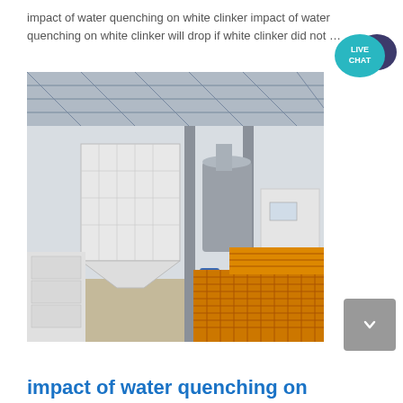impact of water quenching on white clinker impact of water quenching on white clinker will drop if white clinker did not …
[Figure (photo): Industrial factory interior showing large white industrial processing equipment (hoppers, silos, conveyors), orange stacked metal grating/panels in the foreground right, white bagged materials on the left, and industrial ceiling with metal roof structure.]
impact of water quenching on